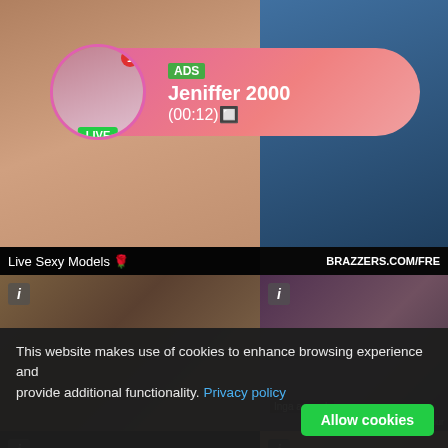[Figure (screenshot): Adult website screenshot with ad overlay showing 'ADS Jeniffer 2000 (00:12)' with live model avatar, LIVE badge, green notification dot, on pink gradient pill-shaped overlay. Background shows adult content thumbnails. Grid of video thumbnails below. Cookie consent banner at bottom.]
ADS
Jeniffer 2000
(00:12)
LIVE
Live Sexy Models 🌹
BRAZZERS.COM/FRE
Inga agreed.
SellYour
This website makes use of cookies to enhance browsing experience and provide additional functionality. Privacy policy
Allow cookies